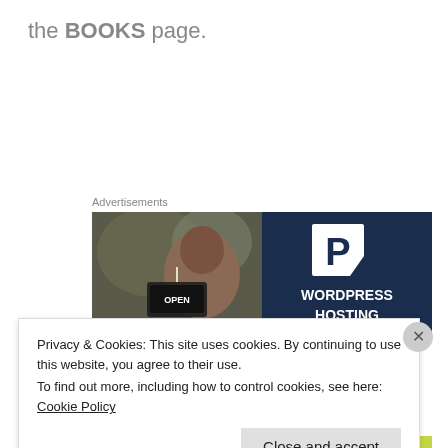the BOOKS page.
Advertisements
[Figure (photo): Advertisement banner showing a smiling woman holding an 'Open' sign on the left half, and a dark navy blue background with a white 'P' logo and text 'WORDPRESS HOSTING' on the right half.]
Privacy & Cookies: This site uses cookies. By continuing to use this website, you agree to their use.
To find out more, including how to control cookies, see here: Cookie Policy